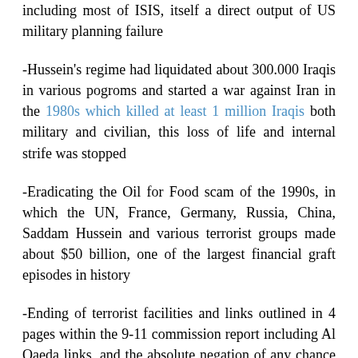including most of ISIS, itself a direct output of US military planning failure
-Hussein's regime had liquidated about 300.000 Iraqis in various pogroms and started a war against Iran in the 1980s which killed at least 1 million Iraqis both military and civilian, this loss of life and internal strife was stopped
-Eradicating the Oil for Food scam of the 1990s, in which the UN, France, Germany, Russia, China, Saddam Hussein and various terrorist groups made about $50 billion, one of the largest financial graft episodes in history
-Ending of terrorist facilities and links outlined in 4 pages within the 9-11 commission report including Al Qaeda links, and the absolute negation of any chance of using WMD